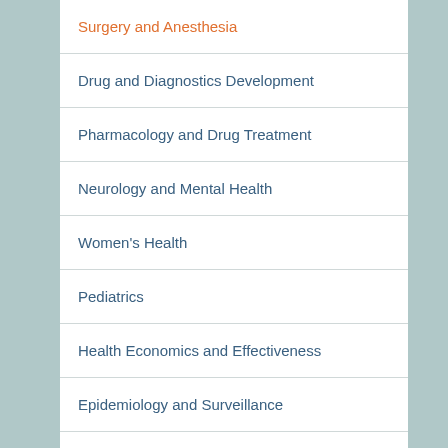Surgery and Anesthesia
Drug and Diagnostics Development
Pharmacology and Drug Treatment
Neurology and Mental Health
Women's Health
Pediatrics
Health Economics and Effectiveness
Epidemiology and Surveillance
Implementation and Behavioral Science